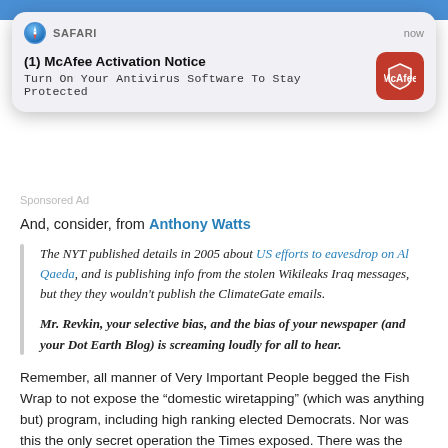[Figure (screenshot): Mobile Safari push notification popup for McAfee Activation Notice over a blue background bar. Shows Safari compass icon, 'SAFARI' label, 'now' timestamp, bold title '(1) McAfee Activation Notice', body text 'Turn On Your Antivirus Software To Stay Protected', and McAfee red icon on the right. 'Sponsored Ad' text below popup.]
And, consider, from Anthony Watts
The NYT published details in 2005 about US efforts to eavesdrop on Al Qaeda, and is publishing info from the stolen Wikileaks Iraq messages, but they they wouldn't publish the ClimateGate emails.

Mr. Revkin, your selective bias, and the bias of your newspaper (and your Dot Earth Blog) is screaming loudly for all to hear.
Remember, all manner of Very Important People begged the Fish Wrap to not expose the “domestic wiretapping” (which was anything but) program, including high ranking elected Democrats. Nor was this the only secret operation the Times exposed. There was the terrorist finance tracking program,